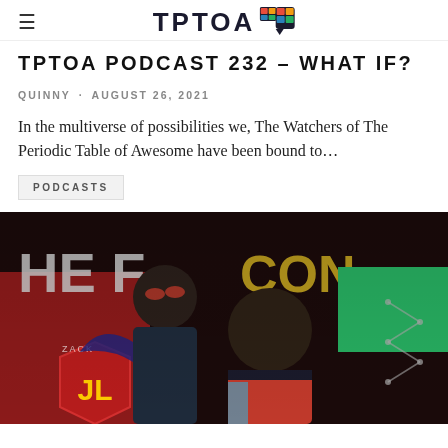TPTOA
TPTOA PODCAST 232 – WHAT IF?
QUINNY · AUGUST 26, 2021
In the multiverse of possibilities we, The Watchers of The Periodic Table of Awesome have been bound to...
PODCASTS
[Figure (photo): Promotional image showing two Marvel superheroes (Falcon and Winter Soldier) in costume, with comic/movie imagery including Justice League logo in background, on a dark atmospheric background.]